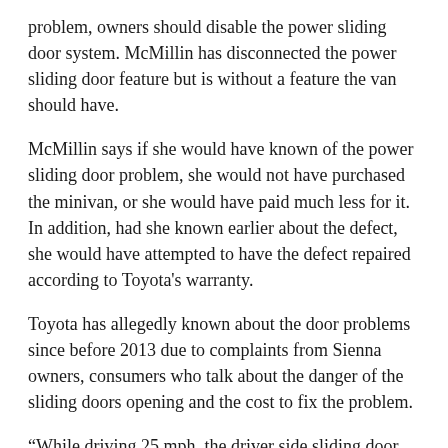problem, owners should disable the power sliding door system. McMillin has disconnected the power sliding door feature but is without a feature the van should have.
McMillin says if she would have known of the power sliding door problem, she would not have purchased the minivan, or she would have paid much less for it. In addition, had she known earlier about the defect, she would have attempted to have the defect repaired according to Toyota's warranty.
Toyota has allegedly known about the door problems since before 2013 due to complaints from Sienna owners, consumers who talk about the danger of the sliding doors opening and the cost to fix the problem.
“While driving 25 mph, the driver side sliding door opened while the vehicle was in motion. The vehicle was taken to the dealer who attempts to diagnose and then the sliding door was one of the d